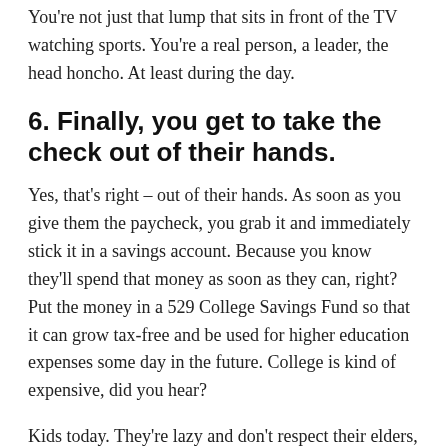You're not just that lump that sits in front of the TV watching sports. You're a real person, a leader, the head honcho. At least during the day.
6. Finally, you get to take the check out of their hands.
Yes, that's right – out of their hands. As soon as you give them the paycheck, you grab it and immediately stick it in a savings account. Because you know they'll spend that money as soon as they can, right? Put the money in a 529 College Savings Fund so that it can grow tax-free and be used for higher education expenses some day in the future. College is kind of expensive, did you hear?
Kids today. They're lazy and don't respect their elders, right? OK, that's what my parents said. And what their parents said about my parents. And on and on. Your kids, and their generation, are no better or worse than any generation before. They want to work. They want